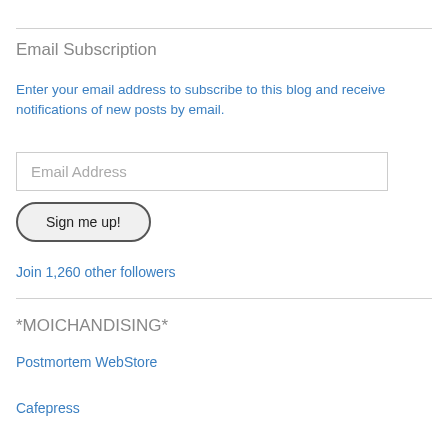Email Subscription
Enter your email address to subscribe to this blog and receive notifications of new posts by email.
Email Address
Sign me up!
Join 1,260 other followers
*MOICHANDISING*
Postmortem WebStore
Cafepress